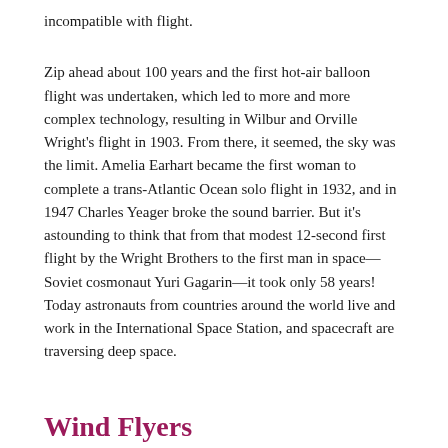incompatible with flight.
Zip ahead about 100 years and the first hot-air balloon flight was undertaken, which led to more and more complex technology, resulting in Wilbur and Orville Wright's flight in 1903. From there, it seemed, the sky was the limit. Amelia Earhart became the first woman to complete a trans-Atlantic Ocean solo flight in 1932, and in 1947 Charles Yeager broke the sound barrier. But it's astounding to think that from that modest 12-second first flight by the Wright Brothers to the first man in space—Soviet cosmonaut Yuri Gagarin—it took only 58 years! Today astronauts from countries around the world live and work in the International Space Station, and spacecraft are traversing deep space.
Wind Flyers
Written by Angela Johnson | Illustrated by Loren Long
With pride a young African-American boy tells the story of his great-great-uncle who was a Tuskegee Airman in World War II.